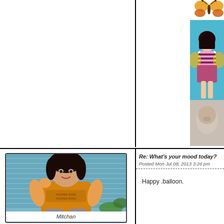[Figure (photo): Top-left blank white panel with border]
[Figure (illustration): Butterfly emoji/icon at top right corner]
[Figure (photo): Photo strip on right side: upper portion shows person in colorful costume against blue background, lower portion shows blurred face/figure]
[Figure (photo): Avatar photo of Mitchan - person wearing yellow/mustard t-shirt sitting against blue striped background]
Mitchan
Re: What's your mood today?
Posted Mon Jul 08, 2013 3:26 pm
Happy .balloon.